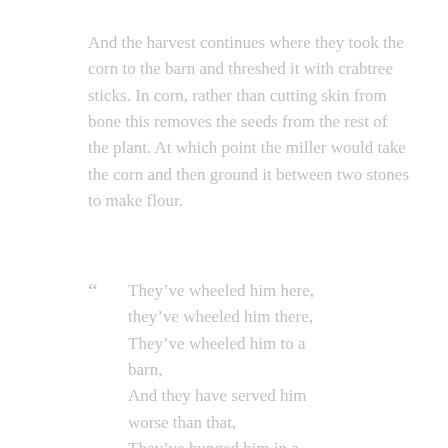And the harvest continues where they took the corn to the barn and threshed it with crabtree sticks. In corn, rather than cutting skin from bone this removes the seeds from the rest of the plant. At which point the miller would take the corn and then ground it between two stones to make flour.
“ They’ve wheeled him here, they’ve wheeled him there, They’ve wheeled him to a barn, And they have served him worse than that, They’ve bunged him in a